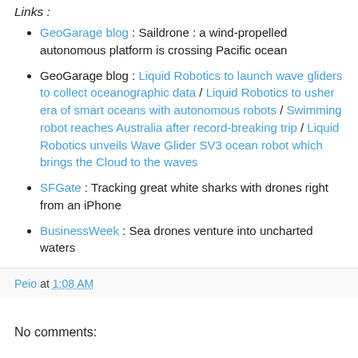Links :
GeoGarage blog : Saildrone : a wind-propelled autonomous platform is crossing Pacific ocean
GeoGarage blog : Liquid Robotics to launch wave gliders to collect oceanographic data / Liquid Robotics to usher era of smart oceans with autonomous robots / Swimming robot reaches Australia after record-breaking trip / Liquid Robotics unveils Wave Glider SV3 ocean robot which brings the Cloud to the waves
SFGate : Tracking great white sharks with drones right from an iPhone
BusinessWeek : Sea drones venture into uncharted waters
Peio at 1:08 AM
No comments: